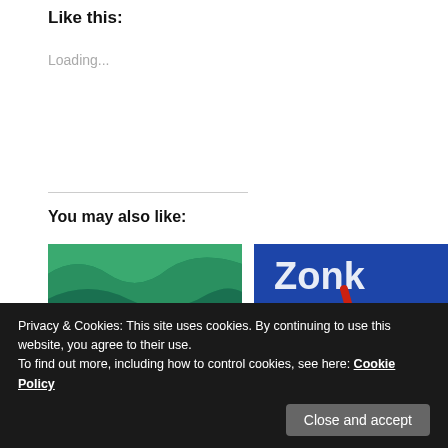Like this:
Loading...
You may also like:
[Figure (illustration): Colorful psychedelic landscape with greenish waves, sunflowers, and a bug-eyed creature]
Guest Post: One Author's Experience Creating Children's Boo...
[Figure (illustration): Blue background with a spiky circular creature with red limbs and white eyes, and large white text 'Zonk' at top]
Ebook Review: Zonk, the Dreaming Tortoise
Privacy & Cookies: This site uses cookies. By continuing to use this website, you agree to their use.
To find out more, including how to control cookies, see here: Cookie Policy
Close and accept